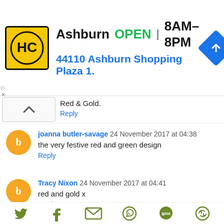[Figure (infographic): Advertisement banner for HC (Hairclub or similar) store in Ashburn. Shows logo with HC letters on yellow/black background, store name Ashburn, OPEN status, hours 8AM-8PM, address 44110 Ashburn Shopping Plaza 1., and a blue navigation diamond icon.]
Red & Gold.
Reply
joanna butler-savage 24 November 2017 at 04:38
the very festive red and green design
Reply
Tracy Nixon 24 November 2017 at 04:41
red and gold x
Reply
[Figure (infographic): Social sharing footer icons: Twitter bird, Facebook f, email envelope, WhatsApp, SMS speech bubble, and a circular arrow share icon — all in olive/dark green color.]